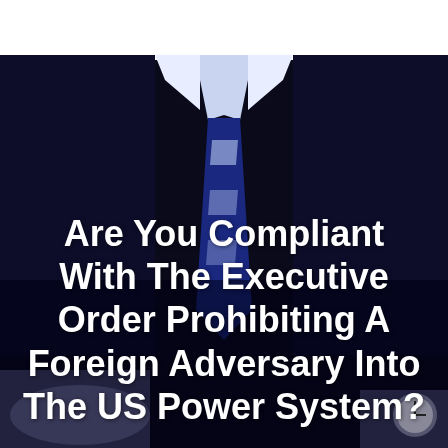[Figure (photo): Dark background photo of a person in a dark suit with a blue and white striped tie, with hands visible at the bottom right wearing a watch, suggesting a business or government official context.]
Are You Compliant With The Executive Order Prohibiting A Foreign Adversary Into The US Power System?